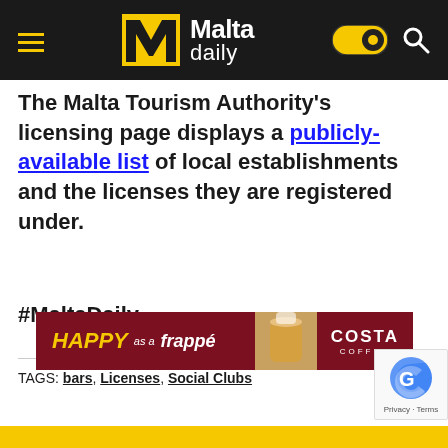Malta daily
The Malta Tourism Authority's licensing page displays a publicly-available list of local establishments and the licenses they are registered under.
#MaltaDaily
TAGS: bars, Licenses, Social Clubs
[Figure (screenshot): Costa Coffee 'Happy as a Frappé' advertisement banner]
[Figure (other): reCAPTCHA badge with Privacy and Terms links]